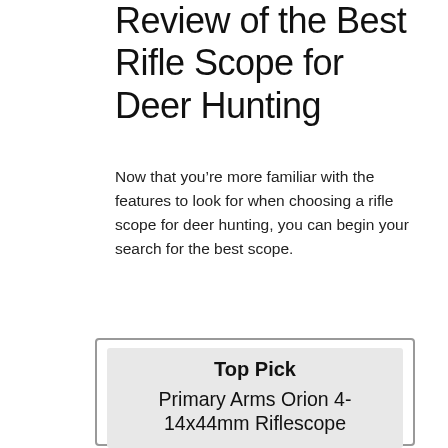Review of the Best Rifle Scope for Deer Hunting
Now that you’re more familiar with the features to look for when choosing a rifle scope for deer hunting, you can begin your search for the best scope.
Top Pick
Primary Arms Orion 4-14x44mm Riflescope
[Figure (photo): Partial image of a rifle scope (riflescope) shown at the bottom of the card, cropped by the page edge]